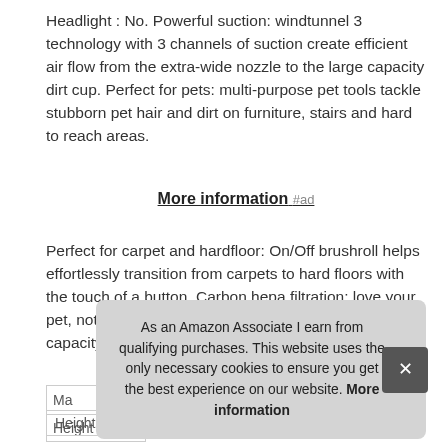Headlight : No. Powerful suction: windtunnel 3 technology with 3 channels of suction create efficient air flow from the extra-wide nozzle to the large capacity dirt cup. Perfect for pets: multi-purpose pet tools tackle stubborn pet hair and dirt on furniture, stairs and hard to reach areas.
More information #ad
Perfect for carpet and hardfloor: On/Off brushroll helps effortlessly transition from carpets to hard floors with the touch of a button. Carbon hepa filtration: love your pet, not their smell with odor-absorbing filters. Dirt cup capacity - 1. 42 liters.
| Ma |  |
| Height | 44 Inches |
As an Amazon Associate I earn from qualifying purchases. This website uses the only necessary cookies to ensure you get the best experience on our website. More information